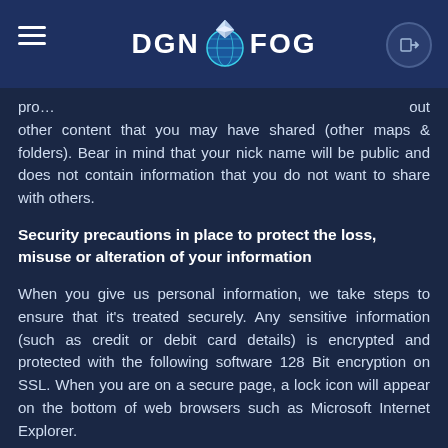DGNFOG
pro... ...out other content that you may have shared (other maps & folders). Bear in mind that your nick name will be public and does not contain information that you do not want to share with others.
Security precautions in place to protect the loss, misuse or alteration of your information
When you give us personal information, we take steps to ensure that it's treated securely. Any sensitive information (such as credit or debit card details) is encrypted and protected with the following software 128 Bit encryption on SSL. When you are on a secure page, a lock icon will appear on the bottom of web browsers such as Microsoft Internet Explorer.
Non-sensitive details (your email address etc.) are transmitted normally over the Internet, and this